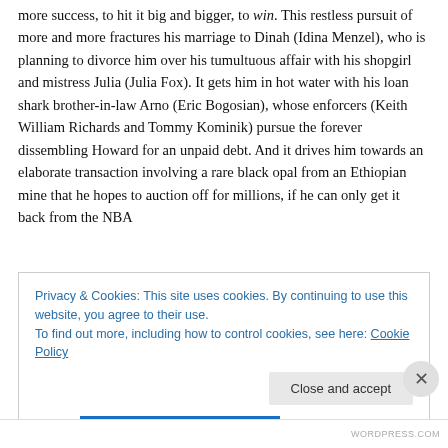more success, to hit it big and bigger, to win. This restless pursuit of more and more fractures his marriage to Dinah (Idina Menzel), who is planning to divorce him over his tumultuous affair with his shopgirl and mistress Julia (Julia Fox). It gets him in hot water with his loan shark brother-in-law Arno (Eric Bogosian), whose enforcers (Keith William Richards and Tommy Kominik) pursue the forever dissembling Howard for an unpaid debt. And it drives him towards an elaborate transaction involving a rare black opal from an Ethiopian mine that he hopes to auction off for millions, if he can only get it back from the NBA
Privacy & Cookies: This site uses cookies. By continuing to use this website, you agree to their use.
To find out more, including how to control cookies, see here: Cookie Policy